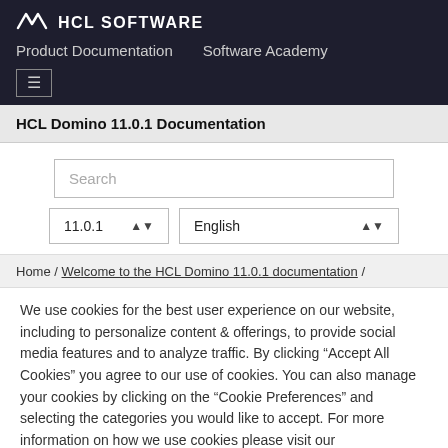HCL SOFTWARE
Product Documentation  Software Academy
HCL Domino 11.0.1 Documentation
Search
11.0.1  English
Home / Welcome to the HCL Domino 11.0.1 documentation /
We use cookies for the best user experience on our website, including to personalize content & offerings, to provide social media features and to analyze traffic. By clicking “Accept All Cookies” you agree to our use of cookies. You can also manage your cookies by clicking on the “Cookie Preferences” and selecting the categories you would like to accept. For more information on how we use cookies please visit our